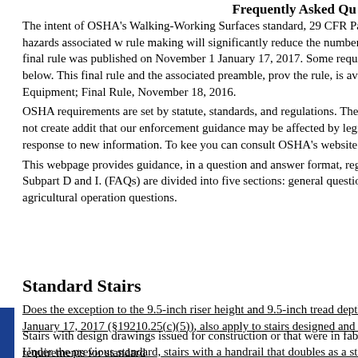Frequently Asked Qu
The intent of OSHA's Walking-Working Surfaces standard, 29 CFR Part 1910, Sub protection of general industry employees and employers from hazards associated w rule making will significantly reduce the number of worker deaths and injuries tha workplace slip, trip, and fall hazards. The final rule was published on November 1 January 17, 2017. Some requirements in the final rule have compliance dates after discussed in further detail below. This final rule and the associated preamble, prov the rule, is available on the Federal Register website at 81 FR 82494, Walking-Wo Equipment; Final Rule, November 18, 2016.
OSHA requirements are set by statute, standards, and regulations. The Agency's in ments and how they apply to particular circumstances, but they do not create addit that our enforcement guidance may be affected by legislative or rule making chang from time to time we update our guidance in response to new information. To kee you can consult OSHA's website at http://www.osha.gov.
This webpage provides guidance, in a question and answer format, regarding OSH Surfaces and Personal Protective Equipment, 29 CFR Part 1910, Subpart D and I. (FAQs) are divided into five sections: general questions, rope descent system (RD questions, residential roof questions, and agricultural operation questions.
Standard Stairs
Does the exception to the 9.5-inch riser height and 9.5-inch tread depth requireme January 17, 2017 (§19210.25(c)(5)), also apply to stairs designed and fabricated, b
Stairs with design drawings issued for construction or that were in fabrication befo installed, will be in compliance if they met the previous requirements for standard
Under the previous standard, stairs with a handrail that doubles as a stair rail could